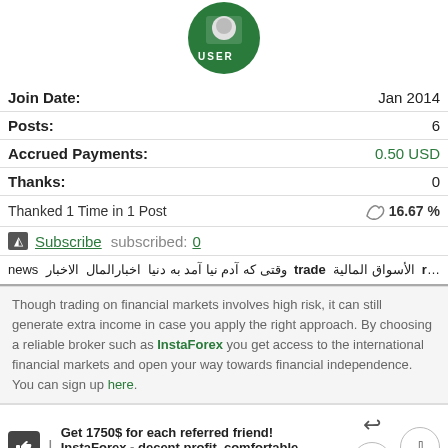[Figure (illustration): User avatar circle with green background and text USER]
| Join Date: | Jan 2014 |
| Posts: | 6 |
| Accrued Payments: | 0.50 USD |
| Thanks: | 0 |
Thanked 1 Time in 1 Post   16.67 %
Subscribe  subscribed: 0
news ... trade ... risk
Though trading on financial markets involves high risk, it can still generate extra income in case you apply the right approach. By choosing a reliable broker such as InstaForex you get access to the international financial markets and open your way towards financial independence. You can sign up here.
Get 1750$ for each referred friend! InstaForex - decent profit, comfortable conditions.
The Following User Says Thank You to abdul kader For This